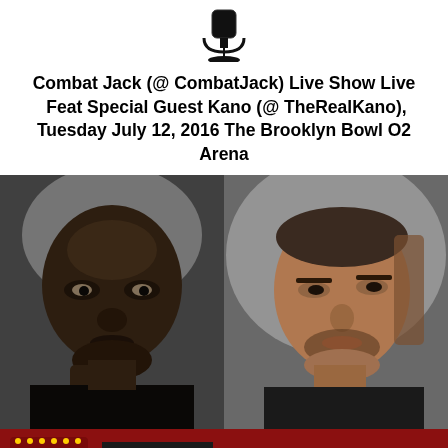[Figure (logo): Microphone/podcast logo icon at top center]
Combat Jack (@ CombatJack) Live Show Live Feat Special Guest Kano (@ TheRealKano), Tuesday July 12, 2016 The Brooklyn Bowl O2 Arena
[Figure (photo): Black and white side-by-side portrait photos of two men — Combat Jack on the left and Kano on the right]
[Figure (logo): Brooklyn Bowl logo and event banner at bottom showing TUE, 12 JUL and THE COMBAT JACK SHOW LIVE text on dark red background]